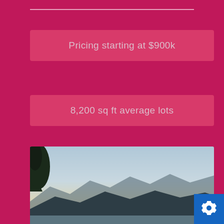Pricing starting at $900k
8,200 sq ft average lots
2,205 – 2,638 sq ft homes
The unique Q Series offers two beautiful floor plans with extensive options. This series also includes a Large Covered Patio.
[Figure (photo): Outdoor landscape photo showing trees silhouetted against a sunset sky with mountains and a lake in the background.]